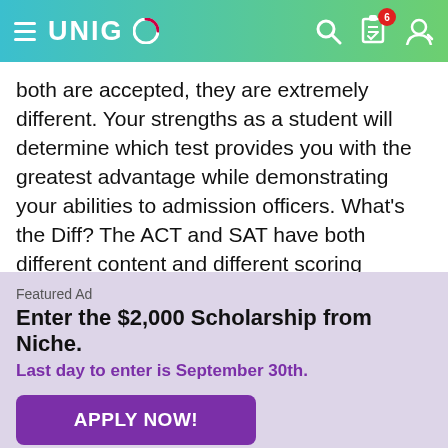UNIGO
both are accepted, they are extremely different. Your strengths as a student will determine which test provides you with the greatest advantage while demonstrating your abilities to admission officers. What's the Diff? The ACT and SAT have both different content and different scoring rubrics. Each test will require its own strategies. Some of the main differences to help you decide should be the following: She Blinded Me With Science. The ACT includes specific science content and the SAT does
Featured Ad
Enter the $2,000 Scholarship from Niche.
Last day to enter is September 30th.
APPLY NOW!